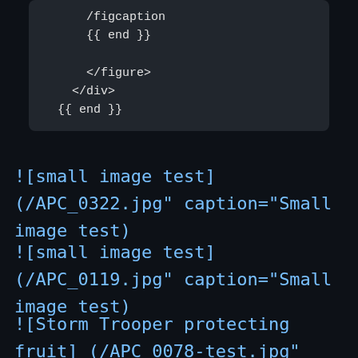/figcaption
{{ end }}

</figure>
</div>
{{ end }}
![small image test](/APC_0322.jpg" caption="Small image test)
![small image test](/APC_0119.jpg" caption="Small image test)
![Storm Trooper protecting fruit](/APC_0078-test.jpg" caption="These are not the apples you're looking for)